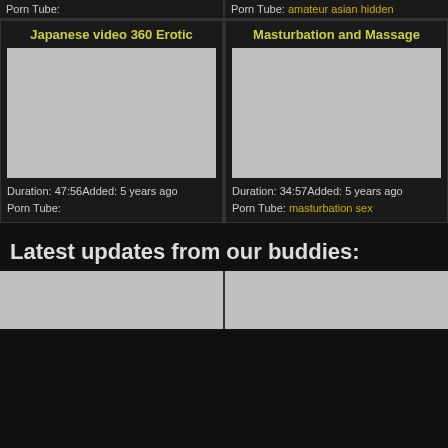Porn Tube:
Porn Tube: amateur asian hidden
Japanese video 360 Erotic
[Figure (photo): Video thumbnail placeholder (grey rectangle) for Japanese video 360 Erotic]
Duration: 47:56Added: 5 years ago
Porn Tube:
Masturbation and Massage
[Figure (photo): Video thumbnail placeholder (grey rectangle) for Masturbation and Massage]
Duration: 34:57Added: 5 years ago
Porn Tube: masturbation sex
Latest updates from our buddies:
[Figure (photo): Video thumbnail placeholder (grey rectangle) bottom left]
[Figure (photo): Video thumbnail placeholder (grey rectangle) bottom right]